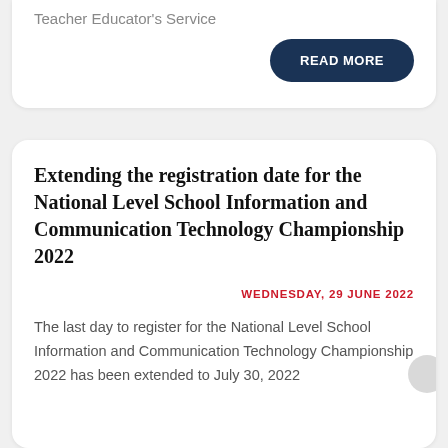Teacher Educator's Service
READ MORE
Extending the registration date for the National Level School Information and Communication Technology Championship 2022
WEDNESDAY, 29 JUNE 2022
The last day to register for the National Level School Information and Communication Technology Championship 2022 has been extended to July 30, 2022